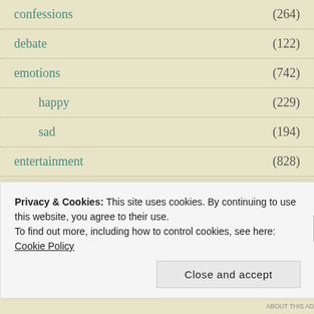confessions (264)
debate (122)
emotions (742)
happy (229)
sad (194)
entertainment (828)
film (47)
Privacy & Cookies: This site uses cookies. By continuing to use this website, you agree to their use.
To find out more, including how to control cookies, see here: Cookie Policy
Close and accept
ABOUT THE AD